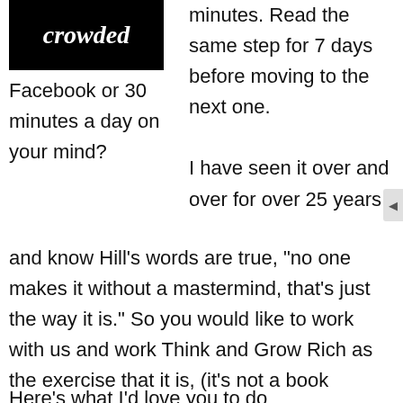[Figure (logo): Black box with white cursive/italic text reading 'crowded']
Facebook or 30 minutes a day on your mind?
minutes. Read the same step for 7 days before moving to the next one.

I have seen it over and over for over 25 years
and know Hill’s words are true, “no one makes it without a mastermind, that’s just the way it is.”  So you would like to work with us and work Think and Grow Rich as the exercise that it is, (it’s not a book folks), here’s the early notification list.
Here’s what I’d love you to do